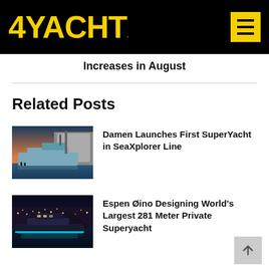4YACHT
Increases in August
Related Posts
[Figure (photo): A large superyacht being launched from a dry dock at dusk]
Damen Launches First SuperYacht in SeaXplorer Line
[Figure (photo): A luxury superyacht with blue LED lighting docked at a harbor at night with city lights in background]
Espen Øino Designing World's Largest 281 Meter Private Superyacht